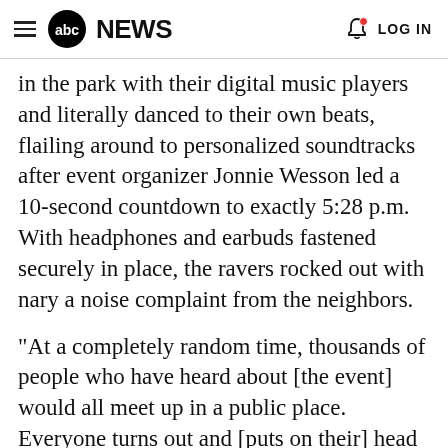abc NEWS   LOG IN
in the park with their digital music players and literally danced to their own beats, flailing around to personalized soundtracks after event organizer Jonnie Wesson led a 10-second countdown to exactly 5:28 p.m. With headphones and earbuds fastened securely in place, the ravers rocked out with nary a noise complaint from the neighbors.
"At a completely random time, thousands of people who have heard about [the event] would all meet up in a public place. Everyone turns out and [puts on their] head phones and has a good time," said Wesson, 18.